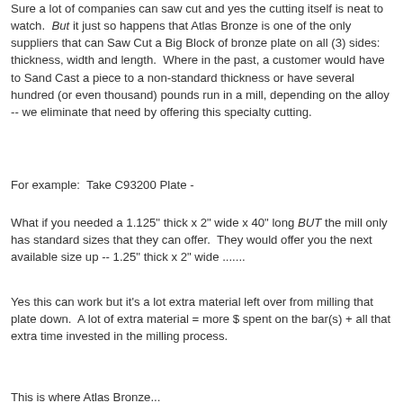Sure a lot of companies can saw cut and yes the cutting itself is neat to watch. But it just so happens that Atlas Bronze is one of the only suppliers that can Saw Cut a Big Block of bronze plate on all (3) sides: thickness, width and length. Where in the past, a customer would have to Sand Cast a piece to a non-standard thickness or have several hundred (or even thousand) pounds run in a mill, depending on the alloy -- we eliminate that need by offering this specialty cutting.
For example: Take C93200 Plate -
What if you needed a 1.125" thick x 2" wide x 40" long BUT the mill only has standard sizes that they can offer. They would offer you the next available size up -- 1.25" thick x 2" wide .......
Yes this can work but it's a lot extra material left over from milling that plate down. A lot of extra material = more $ spent on the bar(s) + all that extra time invested in the milling process.
This is where Atlas Bronze...